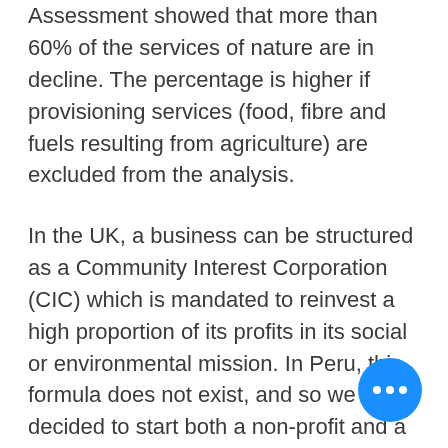Assessment showed that more than 60% of the services of nature are in decline. The percentage is higher if provisioning services (food, fibre and fuels resulting from agriculture) are excluded from the analysis.
In the UK, a business can be structured as a Community Interest Corporation (CIC) which is mandated to reinvest a high proportion of its profits in its social or environmental mission. In Peru, this formula does not exist, and so we have decided to start both a non-profit and a for-profit entity and to operate them as a hybrid, a solution often used by social enterprises.
[Figure (other): Blue circular chat/more-options button with three white dots in the bottom-right corner of the page]